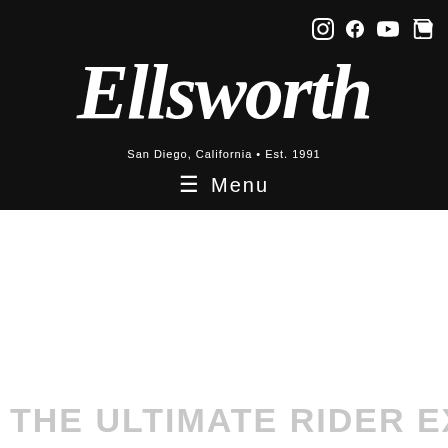Social icons: Instagram, Facebook, YouTube, Cart
[Figure (logo): Ellsworth cursive script logo with tagline San Diego, California • Est. 1991 on black background]
☰ Menu
THE ULTIMATE RIDER EXPERIENCE.